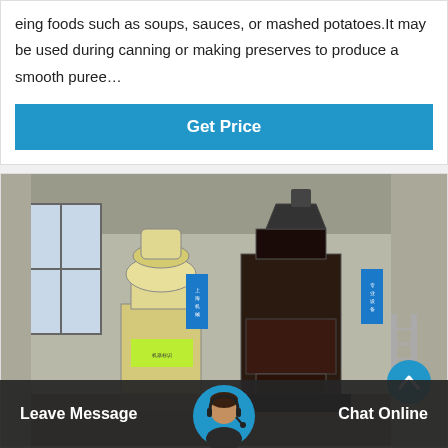eing foods such as soups, sauces, or mashed potatoes.It may be used during canning or making preserves to produce a smooth puree…
Get Price
[Figure (photo): Factory interior showing two industrial milling machines — a cream/yellow colored machine on the left and a dark/black larger machine in the center, inside a concrete warehouse building with windows and Chinese text signs on blue boards.]
Leave Message
Chat Online